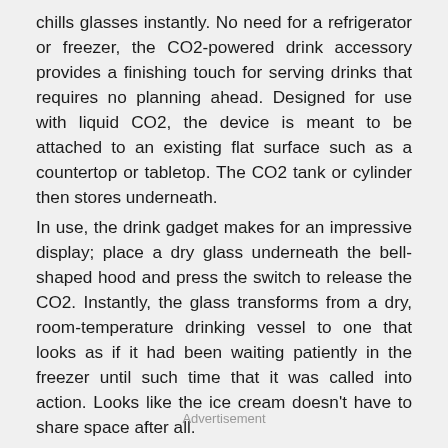chills glasses instantly. No need for a refrigerator or freezer, the CO2-powered drink accessory provides a finishing touch for serving drinks that requires no planning ahead. Designed for use with liquid CO2, the device is meant to be attached to an existing flat surface such as a countertop or tabletop. The CO2 tank or cylinder then stores underneath.
In use, the drink gadget makes for an impressive display; place a dry glass underneath the bell-shaped hood and press the switch to release the CO2. Instantly, the glass transforms from a dry, room-temperature drinking vessel to one that looks as if it had been waiting patiently in the freezer until such time that it was called into action. Looks like the ice cream doesn't have to share space after all.
Advertisement